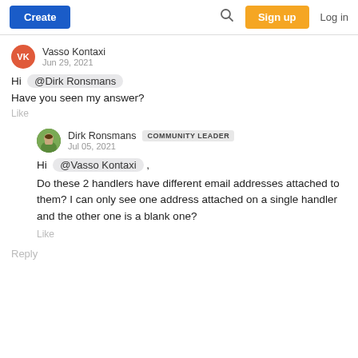Create  [search icon]  Sign up  Log in
Vasso Kontaxi
Jun 29, 2021
Hi @Dirk Ronsmans
Have you seen my answer?
Like
Dirk Ronsmans  COMMUNITY LEADER
Jul 05, 2021
Hi @Vasso Kontaxi ,
Do these 2 handlers have different email addresses attached to them? I can only see one address attached on a single handler and the other one is a blank one?
Like
Reply